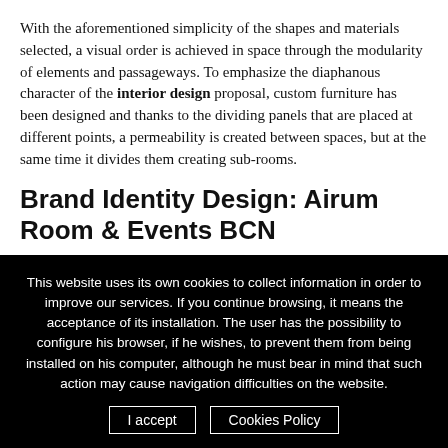With the aforementioned simplicity of the shapes and materials selected, a visual order is achieved in space through the modularity of elements and passageways. To emphasize the diaphanous character of the interior design proposal, custom furniture has been designed and thanks to the dividing panels that are placed at different points, a permeability is created between spaces, but at the same time it divides them creating sub-rooms.
Brand Identity Design: Airum Room & Events BCN
With a name that refers to the air, the brand identity for Airum Room & Events BCN was developed from all points of view of possible uses. The logo is composed of a Bold dry stick typeface, and is applied with an elegant and calm color palette
This website uses its own cookies to collect information in order to improve our services. If you continue browsing, it means the acceptance of its installation. The user has the possibility to configure his browser, if he wishes, to prevent them from being installed on his computer, although he must bear in mind that such action may cause navigation difficulties on the website.